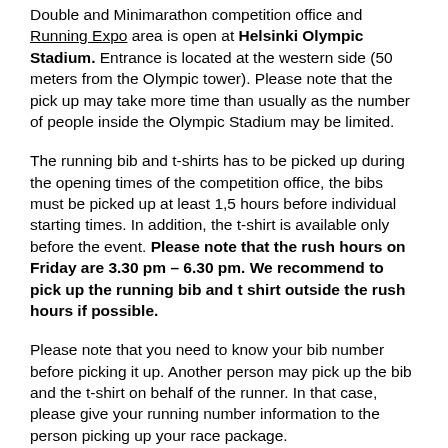Double and Minimarathon competition office and Running Expo area is open at Helsinki Olympic Stadium. Entrance is located at the western side (50 meters from the Olympic tower). Please note that the pick up may take more time than usually as the number of people inside the Olympic Stadium may be limited.
The running bib and t-shirts has to be picked up during the opening times of the competition office, the bibs must be picked up at least 1,5 hours before individual starting times. In addition, the t-shirt is available only before the event. Please note that the rush hours on Friday are 3.30 pm – 6.30 pm. We recommend to pick up the running bib and t shirt outside the rush hours if possible.
Please note that you need to know your bib number before picking it up. Another person may pick up the bib and the t-shirt on behalf of the runner. In that case, please give your running number information to the person picking up your race package.
Saturday October 3rd, 2020